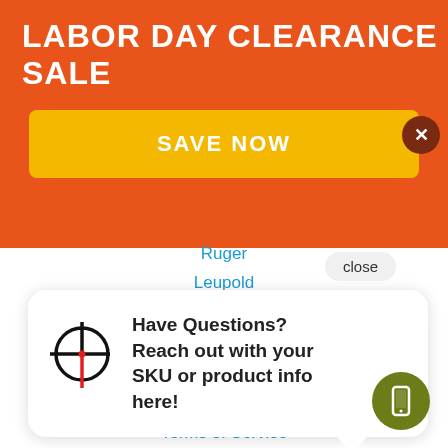LABOR DAY CLEARANCE SALE
SAVE NOW
Ruger
Leupold
Federal Ammunition
Savage Arms
[Figure (illustration): Chat widget bubble with crosshair/reticle icon and text: Have Questions? Reach out with your SKU or product info here!]
Help & FAQs
Terms of Service
Privacy Policy
Returns Policy
Contact Us